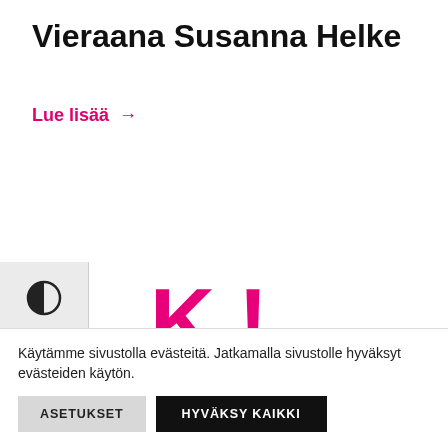Vieraana Susanna Helke
Lue lisää →
[Figure (logo): K! Blogi logo in magenta/pink color]
Käytämme sivustolla evästeitä. Jatkamalla sivustolle hyväksyt evästeiden käytön.
ASETUKSET
HYVÄKSY KAIKKI